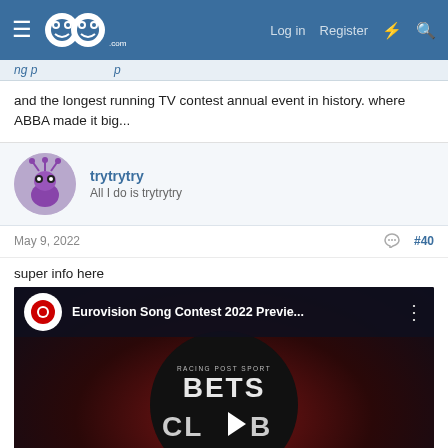GoG.com forum header with Log in, Register navigation
and the longest running TV contest annual event in history. where ABBA made it big...
trytrytry
All I do is trytrytry
May 9, 2022  #40
super info here
[Figure (screenshot): YouTube video thumbnail for Eurovision Song Contest 2022 Preview featuring Racing Post Sport Bets Club branding with play button and Eurovision logo]